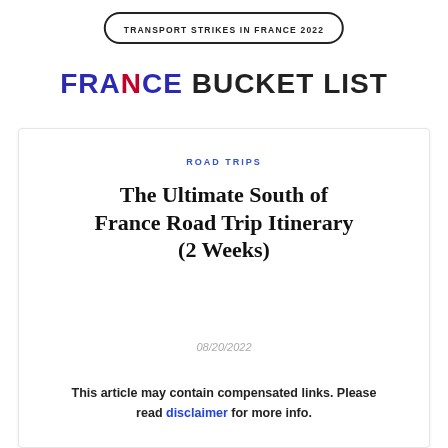TRANSPORT STRIKES IN FRANCE 2022
[Figure (logo): France Bucket List logo with FRANCE in blue/red and BUCKET LIST in dark gray]
ROAD TRIPS
The Ultimate South of France Road Trip Itinerary (2 Weeks)
08/20/2022
This article may contain compensated links. Please read disclaimer for more info.